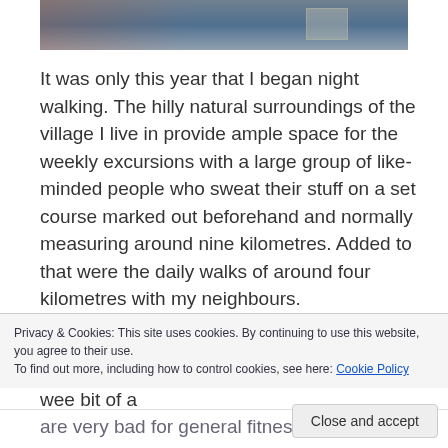[Figure (photo): Cropped photo strip showing an outdoor scene with blue/grey tones, partial view of a street or village environment]
It was only this year that I began night walking. The hilly natural surroundings of the village I live in provide ample space for the weekly excursions with a large group of like-minded people who sweat their stuff on a set course marked out beforehand and normally measuring around nine kilometres. Added to that were the daily walks of around four kilometres with my neighbours.

Such exhilaration had become the high point of my week and day respectively until I had a wee bit of a
Privacy & Cookies: This site uses cookies. By continuing to use this website, you agree to their use.
To find out more, including how to control cookies, see here: Cookie Policy
Close and accept
are very bad for general fitness.